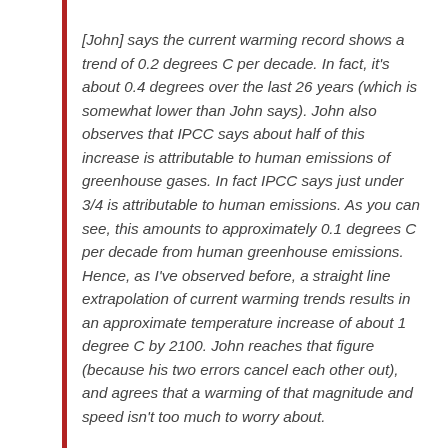[John] says the current warming record shows a trend of 0.2 degrees C per decade. In fact, it's about 0.4 degrees over the last 26 years (which is somewhat lower than John says). John also observes that IPCC says about half of this increase is attributable to human emissions of greenhouse gases. In fact IPCC says just under 3/4 is attributable to human emissions. As you can see, this amounts to approximately 0.1 degrees C per decade from human greenhouse emissions. Hence, as I've observed before, a straight line extrapolation of current warming trends results in an approximate temperature increase of about 1 degree C by 2100. John reaches that figure (because his two errors cancel each other out), and agrees that a warming of that magnitude and speed isn't too much to worry about.